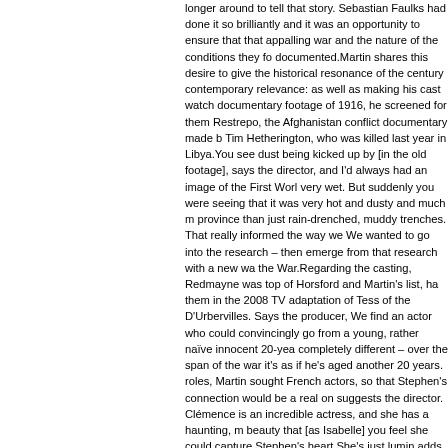longer around to tell that story. Sebastian Faulks had done it so brilliantly and it was an opportunity to ensure that that appalling war and the nature of the conditions they fought in was documented.Martin shares this desire to give the historical resonance of the century contemporary relevance: as well as making his cast watch documentary footage of 1916, he screened for them Restrepo, the Afghanistan conflict documentary made by Tim Hetherington, who was killed last year in Libya.You see dust being kicked up by [in the old footage], says the director, and I'd always had an image of the First World War as very wet. But suddenly you were seeing that it was very hot and dusty and much more of a province than just rain-drenched, muddy trenches. That really informed the way we went. We wanted to go into the research – then emerge from that research with a new way of seeing the War.Regarding the casting, Redmayne was top of Horsford and Martin's list, having seen them in the 2008 TV adaptation of Tess of the D'Urbervilles. Says the producer, We needed to find an actor who could convincingly go from a young, rather naïve innocent 20-year-old to completely different – over the span of the war it's as if he's aged another 20 years. For the French roles, Martin sought French actors, so that Stephen's connection would be a real one, suggests the director. Clémence is an incredible actress, and she has a haunting, magnetic beauty that [as Isabelle] you feel she could capture Stephen's heart.She's just luminous, adds Horsford – with the added bonus that, via her appearances in the Harry Potter films and Gossip Girl, Poésy has quite a wide following. She appeals to perhaps a younger audience and we're going to get the literary intelligentsia watching because of the book. But on BBC1 it's a wider audience. And Clémence has that scope.Poésy, long a part-time resident in London, even though Birdsong doesn't have the cultural presence in France that it does in the UK, was aware of its iconic importance to her British friends – which made her protective over the role: I never fought for a character like that before 'cos I knew how my friends, especially the women, looking at her – they were looking at her as very modern in her choices and who she is. And the mystery that's left... That's what people love about Isabelle. So I really stood up for her a little bit.For Redmayne, too, his character became precious. Stephen is an isolated man, a lonely kid, who is now being rewarded with love and passion for this woman. He's being contrasts the two stories, the love and the war, so his stillness in the trenches isn't dead – that's where it comes from. There's almost a mystery thriller quality to it – how has this man ended up where he is? So there is always a fascinating, haunting quality, all the right cues. Birdsong and